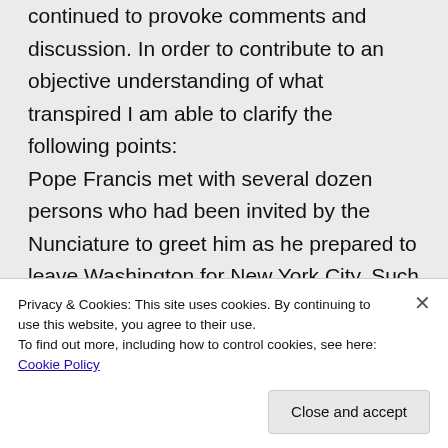continued to provoke comments and discussion. In order to contribute to an objective understanding of what transpired I am able to clarify the following points: Pope Francis met with several dozen persons who had been invited by the Nunciature to greet him as he prepared to leave Washington for New York City. Such
Privacy & Cookies: This site uses cookies. By continuing to use this website, you agree to their use. To find out more, including how to control cookies, see here: Cookie Policy
Close and accept